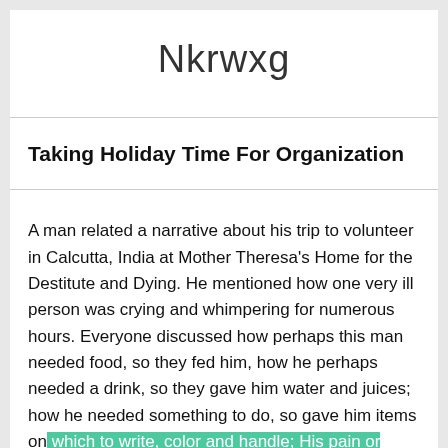Nkrwxg
Taking Holiday Time For Organization
A man related a narrative about his trip to volunteer in Calcutta, India at Mother Theresa's Home for the Destitute and Dying. He mentioned how one very ill person was crying and whimpering for numerous hours. Everyone discussed how perhaps this man needed food, so they fed him, how he perhaps needed a drink, so they gave him water and juices; how he needed something to do, so gave him items on which to write, color and handle; His pain or suffering perceived to completely disappear after an attractive went and sat at the